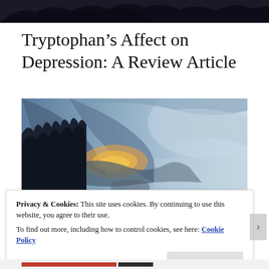[Figure (photo): Dark atmospheric header image showing trees against night sky]
Tryptophan’s Affect on Depression: A Review Article
[Figure (photo): Photograph of a dramatic sky with clouds at dusk or dawn, with silhouettes of trees on the left side. Orange and warm light breaks through blue-grey clouds.]
Privacy & Cookies: This site uses cookies. By continuing to use this website, you agree to their use.
To find out more, including how to control cookies, see here: Cookie Policy
Close and accept